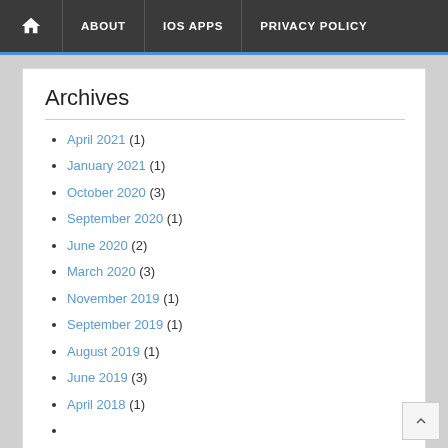🏠 ABOUT | IOS APPS | PRIVACY POLICY
Archives
April 2021 (1)
January 2021 (1)
October 2020 (3)
September 2020 (1)
June 2020 (2)
March 2020 (3)
November 2019 (1)
September 2019 (1)
August 2019 (1)
June 2019 (3)
April 2018 (1)